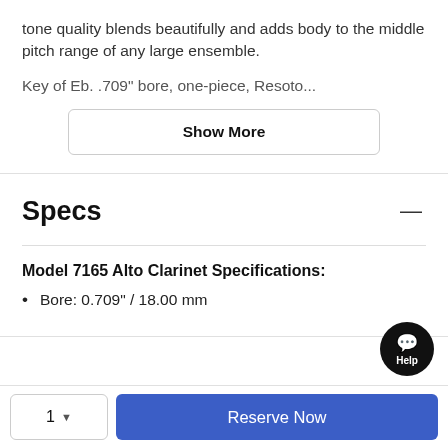tone quality blends beautifully and adds body to the middle pitch range of any large ensemble.
Key of Eb. .709" bore, one-piece, Resoto...
Show More
Specs
Model 7165 Alto Clarinet Specifications:
Bore: 0.709" / 18.00 mm